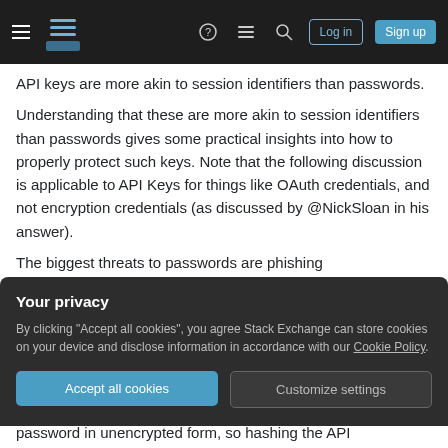Stack Exchange navigation bar with hamburger menu, logo, help, chat, search icons, Log in and Sign up buttons
API keys are more akin to session identifiers than passwords.
Understanding that these are more akin to session identifiers than passwords gives some practical insights into how to properly protect such keys. Note that the following discussion is applicable to API Keys for things like OAuth credentials, and not encryption credentials (as discussed by @NickSloan in his answer).
The biggest threats to passwords are phishing
Your privacy
By clicking "Accept all cookies", you agree Stack Exchange can store cookies on your device and disclose information in accordance with our Cookie Policy.
Accept all cookies
Customize settings
password in unencrypted form, so hashing the API